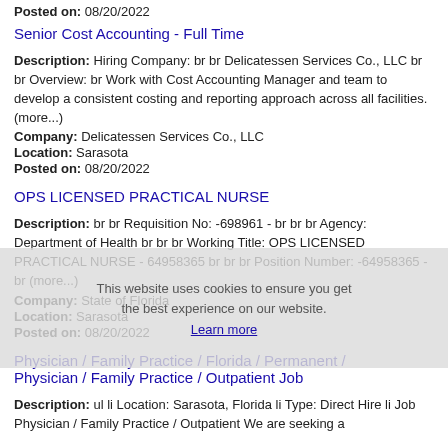Posted on: 08/20/2022
Senior Cost Accounting - Full Time
Description: Hiring Company: br br Delicatessen Services Co., LLC br br Overview: br Work with Cost Accounting Manager and team to develop a consistent costing and reporting approach across all facilities. (more...)
Company: Delicatessen Services Co., LLC
Location: Sarasota
Posted on: 08/20/2022
OPS LICENSED PRACTICAL NURSE
Description: br br Requisition No: -698961 - br br br Agency: Department of Health br br br Working Title: OPS LICENSED PRACTICAL NURSE - 64958365 br br br Position Number: -64958365 - br (more...)
Company: State of Florida
Location: Sarasota
Posted on: 08/20/2022
Physician / Family Practice / Florida / Permanent / Physician / Family Practice / Outpatient Job
Description: ul li Location: Sarasota, Florida li Type: Direct Hire li Job Physician / Family Practice / Outpatient We are seeking a